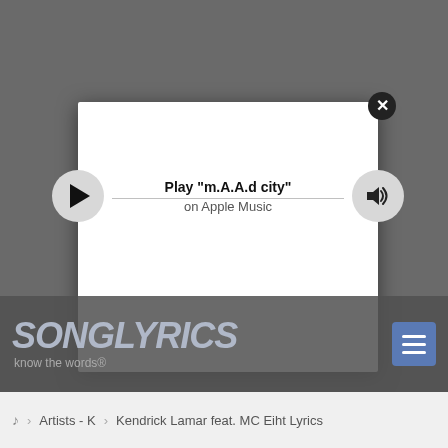[Figure (screenshot): A music player modal popup on a song lyrics website. The modal shows a play button on the left, a volume icon on the right, and center text reading Play "m.A.A.d city" on Apple Music. There is an X close button at the top right corner of the modal. The background shows the SongLyrics website with logo and navigation breadcrumb.]
Play "m.A.A.d city"
on Apple Music
SONGLYRICS
know the words®
Artists - K
Kendrick Lamar feat. MC Eiht Lyrics